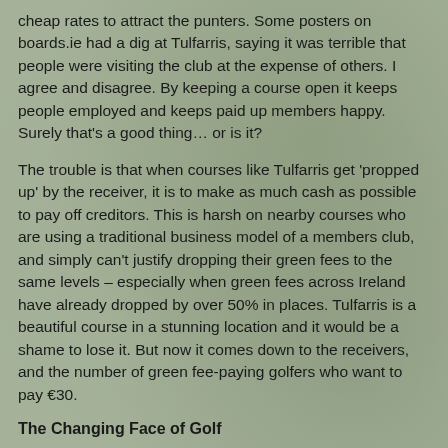cheap rates to attract the punters. Some posters on boards.ie had a dig at Tulfarris, saying it was terrible that people were visiting the club at the expense of others. I agree and disagree. By keeping a course open it keeps people employed and keeps paid up members happy. Surely that's a good thing… or is it?
The trouble is that when courses like Tulfarris get 'propped up' by the receiver, it is to make as much cash as possible to pay off creditors. This is harsh on nearby courses who are using a traditional business model of a members club, and simply can't justify dropping their green fees to the same levels – especially when green fees across Ireland have already dropped by over 50% in places. Tulfarris is a beautiful course in a stunning location and it would be a shame to lose it. But now it comes down to the receivers, and the number of green fee-paying golfers who want to pay €30.
The Changing Face of Golf
Of course, clubs running out of, or owing, money is only one factor in the evolving golfing market. There are golfers who